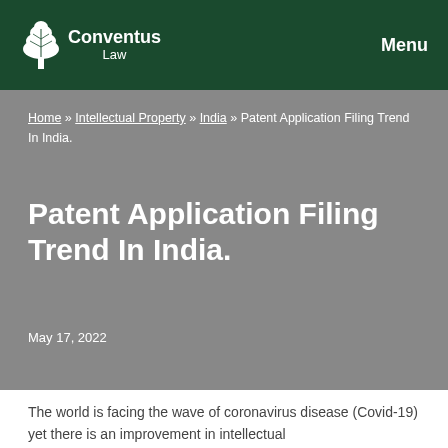Conventus Law | Menu
Home » Intellectual Property » India » Patent Application Filing Trend In India.
Patent Application Filing Trend In India.
May 17, 2022
The world is facing the wave of coronavirus disease (Covid-19) yet there is an improvement in intellectual